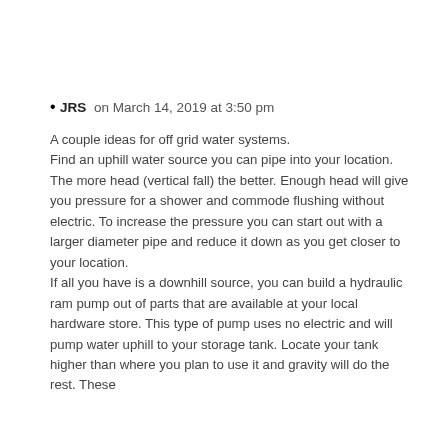JRS on March 14, 2019 at 3:50 pm
A couple ideas for off grid water systems.
Find an uphill water source you can pipe into your location. The more head (vertical fall) the better. Enough head will give you pressure for a shower and commode flushing without electric. To increase the pressure you can start out with a larger diameter pipe and reduce it down as you get closer to your location.
If all you have is a downhill source, you can build a hydraulic ram pump out of parts that are available at your local hardware store. This type of pump uses no electric and will pump water uphill to your storage tank. Locate your tank higher than where you plan to use it and gravity will do the rest. These